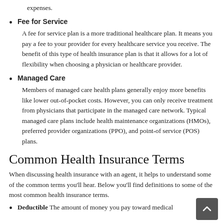expenses.
Fee for Service — A fee for service plan is a more traditional healthcare plan. It means you pay a fee to your provider for every healthcare service you receive. The benefit of this type of health insurance plan is that it allows for a lot of flexibility when choosing a physician or healthcare provider.
Managed Care — Members of managed care health plans generally enjoy more benefits like lower out-of-pocket costs. However, you can only receive treatment from physicians that participate in the managed care network. Typical managed care plans include health maintenance organizations (HMOs), preferred provider organizations (PPO), and point-of service (POS) plans.
Common Health Insurance Terms
When discussing health insurance with an agent, it helps to understand some of the common terms you'll hear. Below you'll find definitions to some of the most common health insurance terms.
Deductible — The amount of money you pay toward medical